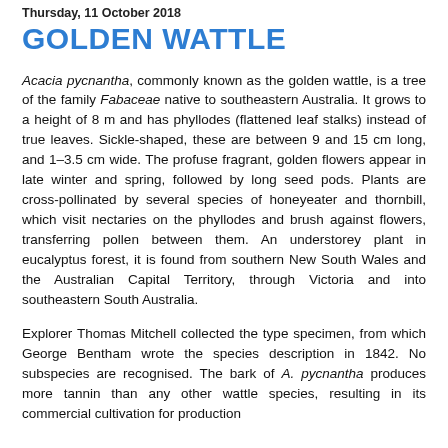Thursday, 11 October 2018
GOLDEN WATTLE
Acacia pycnantha, commonly known as the golden wattle, is a tree of the family Fabaceae native to southeastern Australia. It grows to a height of 8 m and has phyllodes (flattened leaf stalks) instead of true leaves. Sickle-shaped, these are between 9 and 15 cm long, and 1–3.5 cm wide. The profuse fragrant, golden flowers appear in late winter and spring, followed by long seed pods. Plants are cross-pollinated by several species of honeyeater and thornbill, which visit nectaries on the phyllodes and brush against flowers, transferring pollen between them. An understorey plant in eucalyptus forest, it is found from southern New South Wales and the Australian Capital Territory, through Victoria and into southeastern South Australia.
Explorer Thomas Mitchell collected the type specimen, from which George Bentham wrote the species description in 1842. No subspecies are recognised. The bark of A. pycnantha produces more tannin than any other wattle species, resulting in its commercial cultivation for production